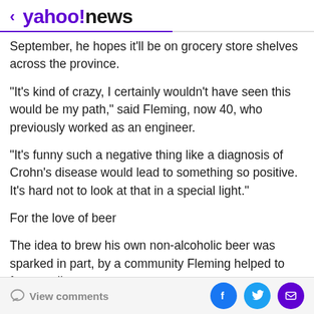< yahoo!news
September, he hopes it'll be on grocery store shelves across the province.
"It's kind of crazy, I certainly wouldn't have seen this would be my path," said Fleming, now 40, who previously worked as an engineer.
"It's funny such a negative thing like a diagnosis of Crohn's disease would lead to something so positive. It's hard not to look at that in a special light."
For the love of beer
The idea to brew his own non-alcoholic beer was sparked in part, by a community Fleming helped to foster online.
View comments